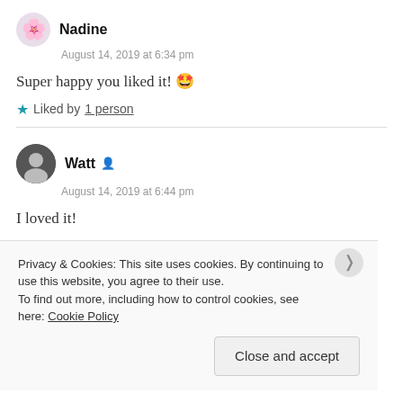Nadine
August 14, 2019 at 6:34 pm
Super happy you liked it! 🤩
★ Liked by 1 person
Watt
August 14, 2019 at 6:44 pm
I loved it!
★ Liked by 1 person
Privacy & Cookies: This site uses cookies. By continuing to use this website, you agree to their use.
To find out more, including how to control cookies, see here: Cookie Policy
Close and accept